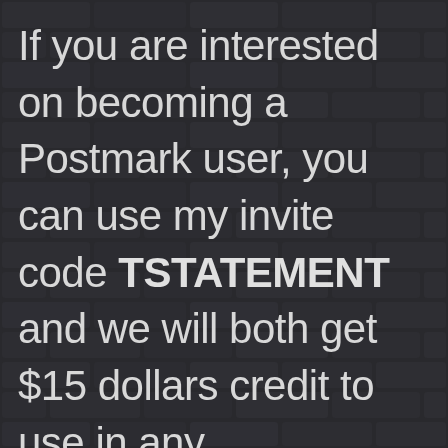If you are interested on becoming a Postmark user, you can use my invite code TSTATEMENT and we will both get $15 dollars credit to use in any